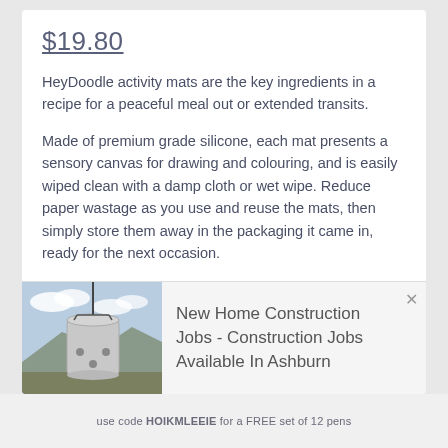$19.80
HeyDoodle activity mats are the key ingredients in a recipe for a peaceful meal out or extended transits.
Made of premium grade silicone, each mat presents a sensory canvas for drawing and colouring, and is easily wiped clean with a damp cloth or wet wipe. Reduce paper wastage as you use and reuse the mats, then simply store them away in the packaging it came in, ready for the next occasion.
HeyDoodle offers a diverse range of themes suited to children aged 2 to 8, with each design packed with activities to engage but also educate our little ones. This is truly learning through play, and better yet, its so
[Figure (photo): Construction site photo showing a large cylindrical concrete or metal tank being lifted by a crane, with mountains and sky in the background.]
New Home Construction Jobs - Construction Jobs Available In Ashburn
use code HOIKMLEEIE for a FREE set of 12 pens